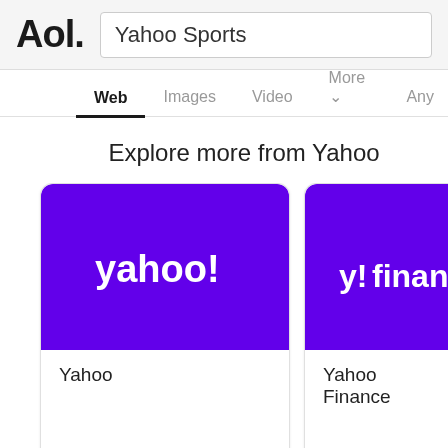Aol.   Yahoo Sports
Web  Images  Video  More  Any
Explore more from Yahoo
[Figure (logo): Yahoo logo on purple background card]
Yahoo
[Figure (logo): Yahoo Finance logo on purple background card]
Yahoo Finance
About 108,000,000 search results